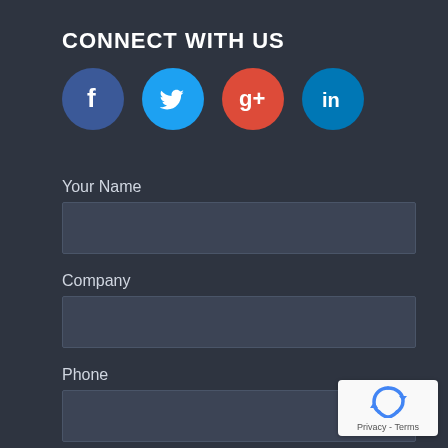CONNECT WITH US
[Figure (illustration): Four social media icons in circles: Facebook (dark blue), Twitter (light blue), Google+ (red/orange), LinkedIn (teal/blue)]
Your Name
Company
Phone
Your Email
[Figure (logo): reCAPTCHA badge with circular arrow logo and 'Privacy - Terms' text]